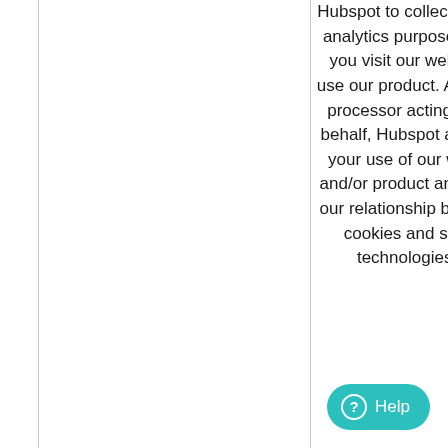Hubspot to collect data for analytics purposes when you visit our website or use our product. As a data processor acting on our behalf, Hubspot analyses your use of our website and/or product and tracks our relationship by way of cookies and similar technologies so